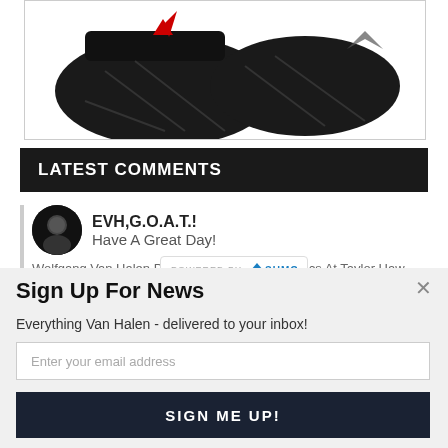[Figure (photo): Product photo showing black hockey/sports pads or sandals with red logo on white background, partially cropped]
LATEST COMMENTS
[Figure (photo): User avatar circle with dark image of a figure]
EVH,G.O.A.T.!
Have A Great Day!
Wolfgang Van Halen Performs Van Halen Classics At Taylor Hawkins
[Figure (logo): POWERED BY SUMO badge/logo]
Sign Up For News
Everything Van Halen - delivered to your inbox!
Enter your email address
SIGN ME UP!